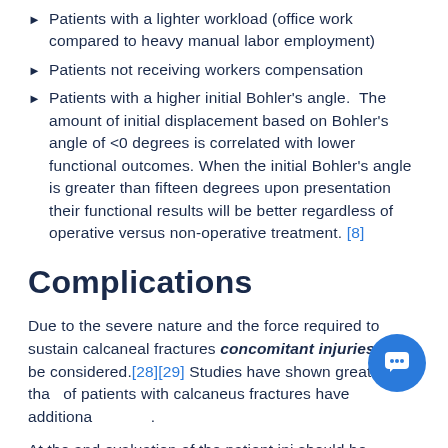Patients with a lighter workload (office work compared to heavy manual labor employment)
Patients not receiving workers compensation
Patients with a higher initial Bohler's angle. The amount of initial displacement based on Bohler's angle of <0 degrees is correlated with lower functional outcomes. When the initial Bohler's angle is greater than fifteen degrees upon presentation their functional results will be better regardless of operative versus non-operative treatment. [8]
Complications
Due to the severe nature and the force required to sustain calcaneal fractures concomitant injuries must be considered.[28][29] Studies have shown greater tha... of patients with calcaneus fractures have additiona...s.
At the and evaluation of the patient ini should be...